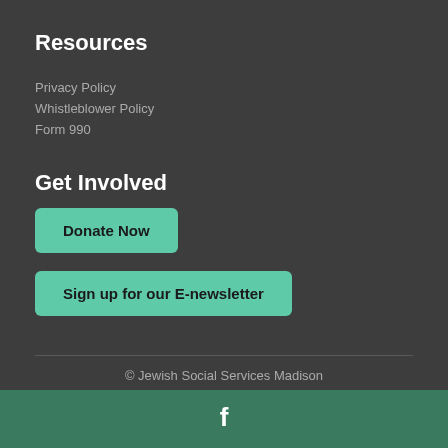Resources
Privacy Policy
Whistleblower Policy
Form 990
Get Involved
Donate Now
Sign up for our E-newsletter
© Jewish Social Services Madison
[Figure (logo): Facebook icon (white F on teal/green background footer bar)]